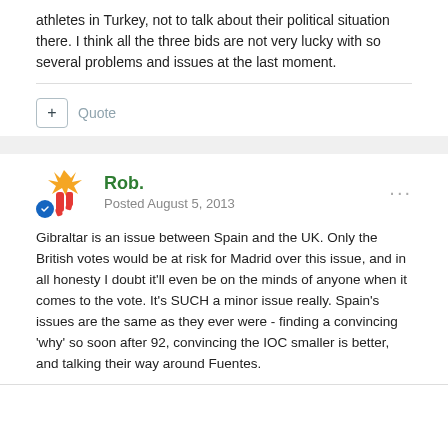athletes in Turkey, not to talk about their political situation there. I think all the three bids are not very lucky with so several problems and issues at the last moment.
Quote
Rob.
Posted August 5, 2013
Gibraltar is an issue between Spain and the UK. Only the British votes would be at risk for Madrid over this issue, and in all honesty I doubt it'll even be on the minds of anyone when it comes to the vote. It's SUCH a minor issue really. Spain's issues are the same as they ever were - finding a convincing 'why' so soon after 92, convincing the IOC smaller is better, and talking their way around Fuentes.